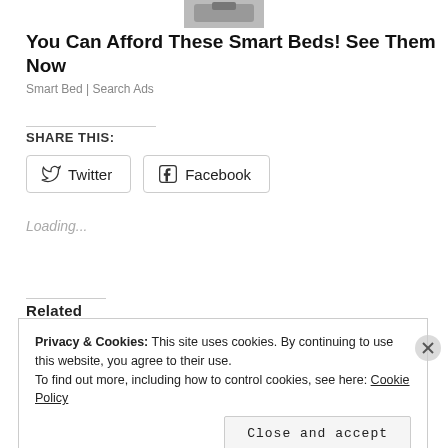[Figure (photo): Partial image of a bed or product at the top of the page (advertisement image, cropped)]
You Can Afford These Smart Beds! See Them Now
Smart Bed | Search Ads
SHARE THIS:
Twitter  Facebook
Loading...
Related
Privacy & Cookies: This site uses cookies. By continuing to use this website, you agree to their use.
To find out more, including how to control cookies, see here: Cookie Policy
Close and accept